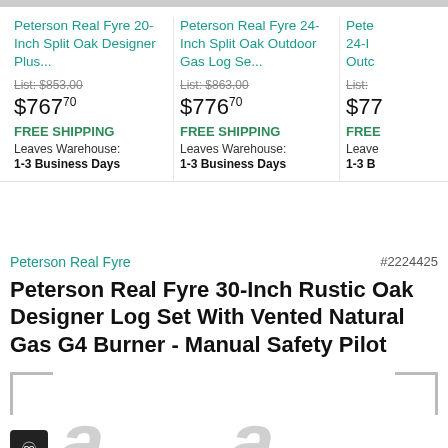[Figure (screenshot): Product listing top section showing three product columns partially visible]
Peterson Real Fyre 20-Inch Split Oak Designer Plus...
List: $853.00
$76770
FREE SHIPPING
Leaves Warehouse:
1-3 Business Days
Peterson Real Fyre 24-Inch Split Oak Outdoor Gas Log Se...
List: $863.00
$77670
FREE SHIPPING
Leaves Warehouse:
1-3 Business Days
Pete 24-I Outc List:
$77
FREE
Leave
1-3 B
Peterson Real Fyre
#2224425
Peterson Real Fyre 30-Inch Rustic Oak Designer Log Set With Vented Natural Gas G4 Burner - Manual Safety Pilot